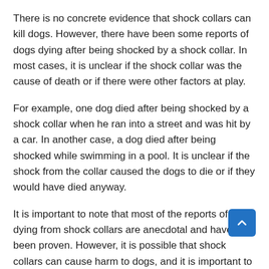There is no concrete evidence that shock collars can kill dogs. However, there have been some reports of dogs dying after being shocked by a shock collar. In most cases, it is unclear if the shock collar was the cause of death or if there were other factors at play.
For example, one dog died after being shocked by a shock collar when he ran into a street and was hit by a car. In another case, a dog died after being shocked while swimming in a pool. It is unclear if the shock from the collar caused the dogs to die or if they would have died anyway.
It is important to note that most of the reports of dogs dying from shock collars are anecdotal and have not been proven. However, it is possible that shock collars can cause harm to dogs, and it is important to use them correctly and only as a last resort.
DON'T MISS THIS DEAL: $100 on your first purchase of